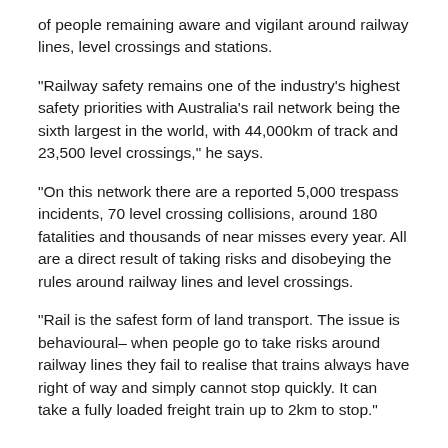of people remaining aware and vigilant around railway lines, level crossings and stations.
“Railway safety remains one of the industry’s highest safety priorities with Australia’s rail network being the sixth largest in the world, with 44,000km of track and 23,500 level crossings,” he says.
“On this network there are a reported 5,000 trespass incidents, 70 level crossing collisions, around 180 fatalities and thousands of near misses every year. All are a direct result of taking risks and disobeying the rules around railway lines and level crossings.
“Rail is the safest form of land transport. The issue is behavioural– when people go to take risks around railway lines they fail to realise that trains always have right of way and simply cannot stop quickly. It can take a fully loaded freight train up to 2km to stop.”